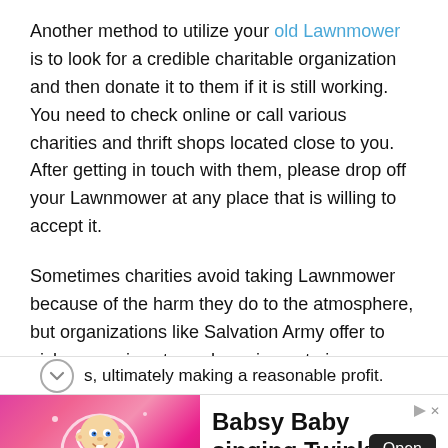Another method to utilize your old Lawnmower is to look for a credible charitable organization and then donate it to them if it is still working. You need to check online or call various charities and thrift shops located close to you. After getting in touch with them, please drop off your Lawnmower at any place that is willing to accept it.
Sometimes charities avoid taking Lawnmower because of the harm they do to the atmosphere, but organizations like Salvation Army offer to pick up services to such equipment pieces. Other than that, thrift shops are more than welcome to pick up such equipment as they can sell them for lower prices, ultimately making a reasonable profit.
[Figure (infographic): Advertisement banner for Babsy Baby singing Twinkle app by Kaufcom GmbH. Shows animated baby character on pink sparkly background on the left. Right side shows bold text 'Babsy Baby singing Twinkle' with an 'Open' button and 'Kaufcom GmbH' label. Ad indicator triangle and X close button in top right.]